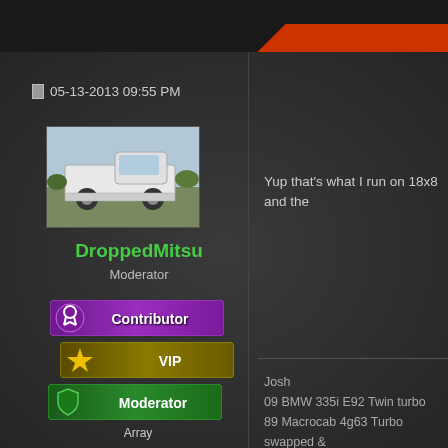05-13-2013 09:55 PM
[Figure (photo): White pickup truck (Mitsubishi) lowered on aftermarket wheels, parked outdoors]
DroppedMitsu
Moderator
[Figure (infographic): Contributor badge - purple gradient with ribbon icon]
[Figure (infographic): VIP badge - olive/gold gradient with star icon]
[Figure (infographic): Moderator badge - green gradient with shield icon]
Array
| Field | Value |
| --- | --- |
| Status: | Offline |
| Join Date: | 03-26-2011 |
| Posts: | 1,507 |
| Location: |  |
Yup that's what I run on 18x8 and the
Josh
09 BMW 335i E92 Twin turbo
89 Macrocab 4g63 Turbo swapped &